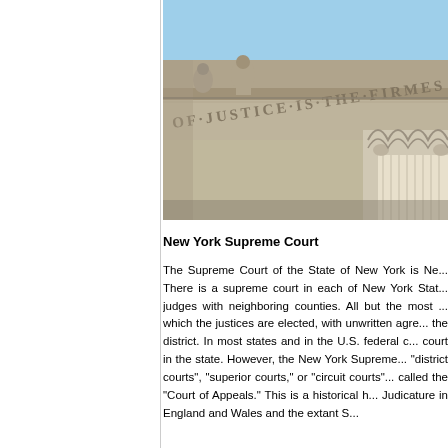[Figure (photo): Photograph of the New York Supreme Court building facade showing ornate Corinthian columns and inscribed cornice text reading 'OF JUSTICE IS THE FIRMES...' against a blue sky]
New York Supreme Court
The Supreme Court of the State of New York is Ne... There is a supreme court in each of New York Stat... judges with neighboring counties. All but the most ... which the justices are elected, with unwritten agre... the district. In most states and in the U.S. federal c... court in the state. However, the New York Supreme... "district courts", "superior courts," or "circuit courts"... called the "Court of Appeals." This is a historical h... Judicature in England and Wales and the extant S...